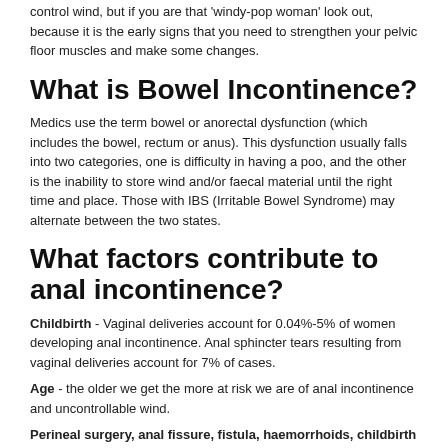control wind, but if you are that 'windy-pop woman' look out, because it is the early signs that you need to strengthen your pelvic floor muscles and make some changes.
What is Bowel Incontinence?
Medics use the term bowel or anorectal dysfunction (which includes the bowel, rectum or anus). This dysfunction usually falls into two categories, one is difficulty in having a poo, and the other is the inability to store wind and/or faecal material until the right time and place. Those with IBS (Irritable Bowel Syndrome) may alternate between the two states.
What factors contribute to anal incontinence?
Childbirth - Vaginal deliveries account for 0.04%-5% of women developing anal incontinence. Anal sphincter tears resulting from vaginal deliveries account for 7% of cases.
Age - the older we get the more at risk we are of anal incontinence and uncontrollable wind.
Perineal surgery, anal fissure, fistula, haemorrhoids, childbirth or accidental injury - because damage to the sphincter can stop it closing when it should.